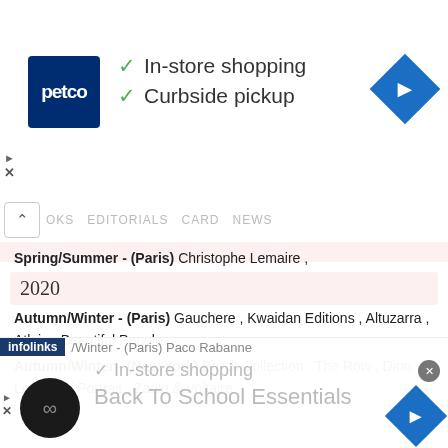[Figure (screenshot): Petco advertisement banner with logo, checkmarks for In-store shopping and Curbside pickup, and navigation icon]
OOKS  EDITORIALS  CARD  NEWS
Spring/Summer - (Paris) Christophe Lemaire ,
2020
Autumn/Winter - (Paris) Gauchere , Kwaidan Editions , Altuzarra , Atlein , Beautiful People ,
Autumn/Winter - (New York) Brock Collection , The Row , Dion Lee , Self Portrait , Zadig & Voltaire ,
Spring/Summer - (Paris) Chloe , Ann Demeulemeester , Paco Rabanne , Altuzarra , Rochas , Schiaparelli ,
Spring/Summer - (London) Preen by Thornton Bregazzi ,
2019
Autumn/Winter - (Paris) Paco Rabanne
[Figure (screenshot): Bottom advertisement with infolinks branding, circle logo with infinity symbol, In-store shopping text, Back To School Essentials text, and navigation icon]